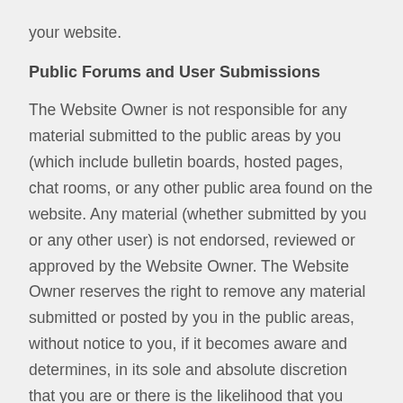your website.
Public Forums and User Submissions
The Website Owner is not responsible for any material submitted to the public areas by you (which include bulletin boards, hosted pages, chat rooms, or any other public area found on the website. Any material (whether submitted by you or any other user) is not endorsed, reviewed or approved by the Website Owner. The Website Owner reserves the right to remove any material submitted or posted by you in the public areas, without notice to you, if it becomes aware and determines, in its sole and absolute discretion that you are or there is the likelihood that you may, including but not limited to:
defame, abuse, harass, stalk, threaten or otherwise violate the rights of other users or any third parties;